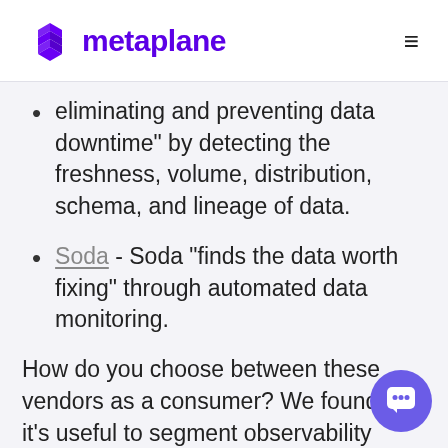metaplane
eliminating and preventing data downtime” by detecting the freshness, volume, distribution, schema, and lineage of data.
Soda - Soda “finds the data worth fixing” through automated data monitoring.
How do you choose between these vendors as a consumer? We found that it’s useful to segment observability tools along four dimensions: